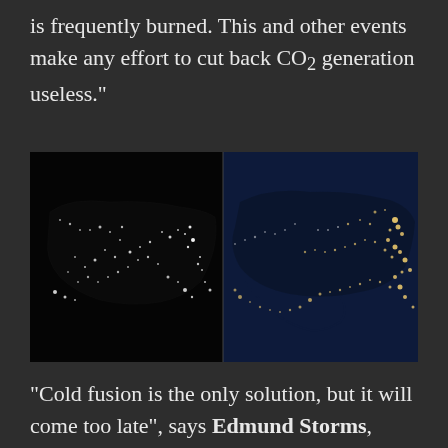is frequently burned. This and other events make any effort to cut back CO2 generation useless."
[Figure (photo): Two satellite night images of North America side by side. Left image shows the US in black and white with city lights appearing as white dots. Right image shows a color photograph with deep blue ocean/land and golden city lights concentrated on the eastern seaboard and coasts.]
“Cold fusion is the only solution, but it will come too late”, says Edmund Storms, author of Science of Low Energy Nuclear Reaction: A Comprehensive Compilation of